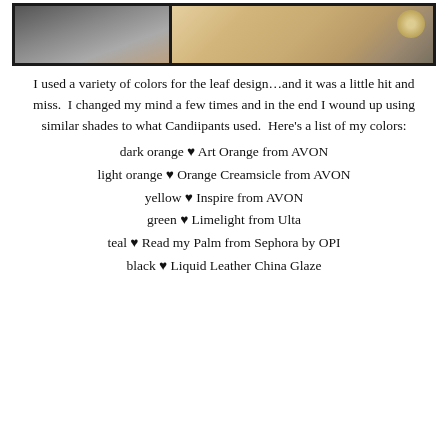[Figure (photo): Close-up photo of fingers/nails showing nail art, split into two sections with a dark border]
I used a variety of colors for the leaf design…and it was a little hit and miss.  I changed my mind a few times and in the end I wound up using similar shades to what Candiipants used.  Here's a list of my colors:
dark orange ♥ Art Orange from AVON
light orange ♥ Orange Creamsicle from AVON
yellow ♥ Inspire from AVON
green ♥ Limelight from Ulta
teal ♥ Read my Palm from Sephora by OPI
black ♥ Liquid Leather China Glaze